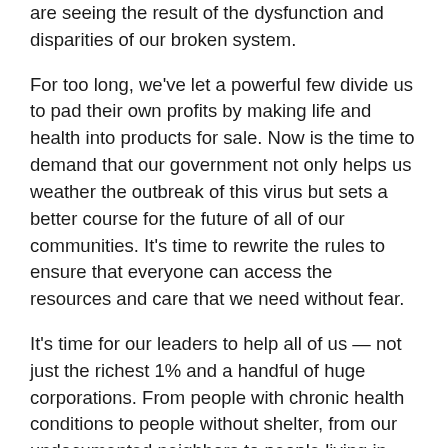are seeing the result of the dysfunction and disparities of our broken system.
For too long, we've let a powerful few divide us to pad their own profits by making life and health into products for sale. Now is the time to demand that our government not only helps us weather the outbreak of this virus but sets a better course for the future of all of our communities. It's time to rewrite the rules to ensure that everyone can access the resources and care that we need without fear.
It's time for our leaders to help all of us — not just the richest 1% and a handful of huge corporations. From people with chronic health conditions to people without shelter, from our undocumented neighbors to people living in detention, people providing vital services or those who can't forgo a paycheck to stay home — all of us need the ability to survive and thrive.